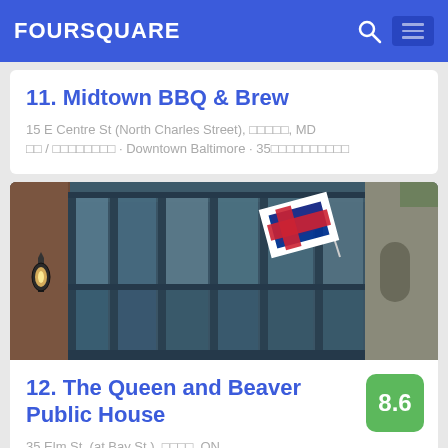FOURSQUARE
11. Midtown BBQ & Brew
15 E Centre St (North Charles Street), ????????????, MD
?? / ?????????? · Downtown Baltimore · 35????????????
[Figure (photo): Exterior of a pub/restaurant with large windows and columns, a Union Jack flag displayed, and a wall-mounted lantern. Stone building visible in the background.]
12. The Queen and Beaver Public House
8.6
35 Elm St. (at Bay St.), ????????, ON